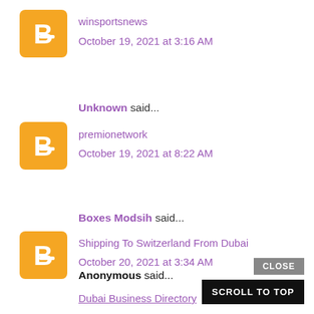[Figure (logo): Blogger orange avatar icon with white B letter]
winsportsnews
October 19, 2021 at 3:16 AM
Unknown said...
[Figure (logo): Blogger orange avatar icon with white B letter]
premionetwork
October 19, 2021 at 8:22 AM
Boxes Modsih said...
[Figure (logo): Blogger orange avatar icon with white B letter]
Shipping To Switzerland From Dubai
October 20, 2021 at 3:34 AM
Anonymous said...
Dubai Business Directory